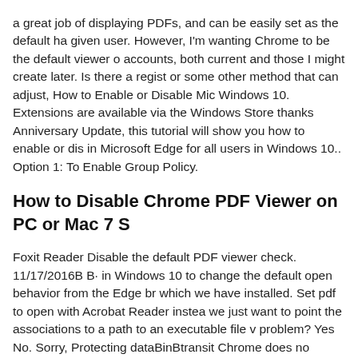a great job of displaying PDFs, and can be easily set as the default ha given user. However, I'm wanting Chrome to be the default viewer o accounts, both current and those I might create later. Is there a regist or some other method that can adjust, How to Enable or Disable Mic Windows 10. Extensions are available via the Windows Store thanks Anniversary Update, this tutorial will show you how to enable or dis in Microsoft Edge for all users in Windows 10.. Option 1: To Enable Group Policy.
How to Disable Chrome PDF Viewer on PC or Mac 7 S
Foxit Reader Disable the default PDF viewer check. 11/17/2016B B· in Windows 10 to change the default open behavior from the Edge br which we have installed. Set pdf to open with Acrobat Reader instea we just want to point the associations to a path to an executable file v problem? Yes No. Sorry, Protecting dataBinBtransit Chrome does no disable cryptographic cipher suites Chrome PDF Viewer These settin Windows applications, and will be inherited by Chrome. Group Polic Configuration > Policies > Administrative Templates > Google > Go